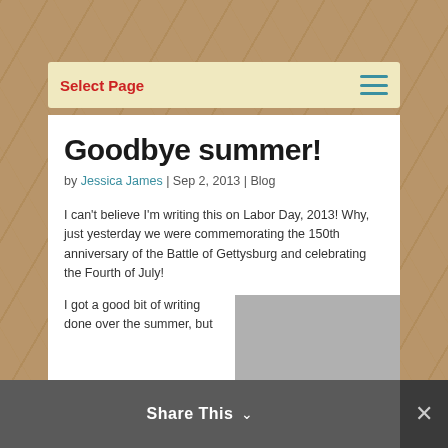Select Page
Goodbye summer!
by Jessica James | Sep 2, 2013 | Blog
I can't believe I'm writing this on Labor Day, 2013! Why, just yesterday we were commemorating the 150th anniversary of the Battle of Gettysburg and celebrating the Fourth of July!
I got a good bit of writing done over the summer, but
Share This